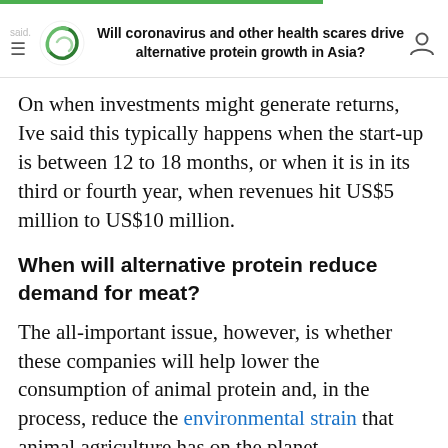Will coronavirus and other health scares drive alternative protein growth in Asia?
On when investments might generate returns, Ive said this typically happens when the start-up is between 12 to 18 months, or when it is in its third or fourth year, when revenues hit US$5 million to US$10 million.
When will alternative protein reduce demand for meat?
The all-important issue, however, is whether these companies will help lower the consumption of animal protein and, in the process, reduce the environmental strain that animal agriculture has on the planet.
Ive expects meat consumption to increase for “some time” in Asia as it is an aspirational food, but said the increase in demand could slow down.
Millennials and the younger generation could drive a greater shift towards plant-based protein, as they do not